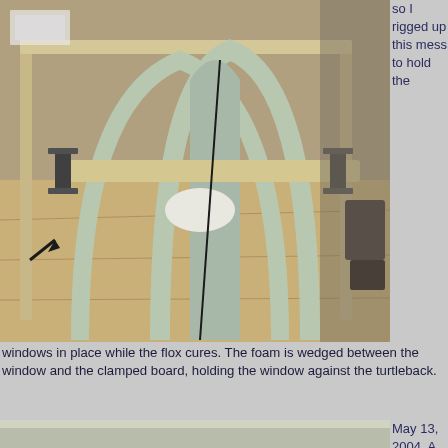[Figure (photo): Workshop photo showing aircraft turtleback structure with arched frames and a clamped board holding windows in place during flox curing process. Wood framing and building jig visible.]
so I rigged up this mess to hold the
windows in place while the flox cures. The foam is wedged between the window and the clamped board, holding the window against the turtleback.
[Figure (photo): May 13, 2004. Exterior shot of aircraft canopy/turtleback structure showing arched window frames in light green/gray primer, with maps and workshop visible in background.]
May 13, 2004. A shot from the outside showing the